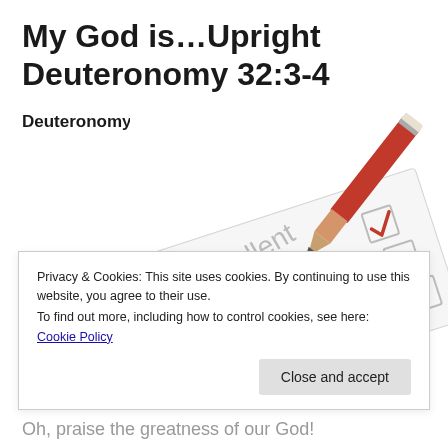My God is…Upright Deuteronomy 32:3-4
Deuteronomy 32:3-4
[Figure (illustration): A red pencil placing a checkmark in a checkbox labeled 'Excellent' on a rating form that also shows 'Good' and 'rage' (average) options with empty checkboxes]
Privacy & Cookies: This site uses cookies. By continuing to use this website, you agree to their use.
To find out more, including how to control cookies, see here: Cookie Policy
Oh, praise the greatness of our God!